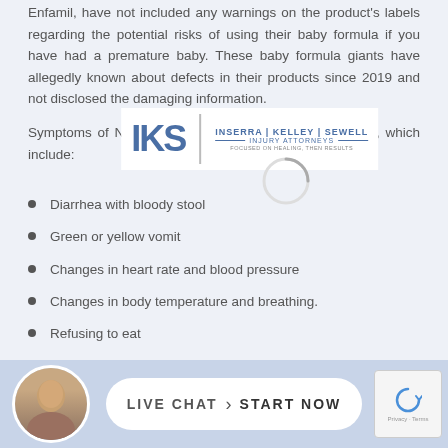Enfamil, have not included any warnings on the product's labels regarding the potential risks of using their baby formula if you have had a premature baby. These baby formula giants have allegedly known about defects in their products since 2019 and not disclosed the damaging information.
[Figure (logo): IKS - Inserra Kelley Sewell Injury Attorneys logo]
Symptoms of NEC may lead to serious health problems, which include:
Diarrhea with bloody stool
Green or yellow vomit
Changes in heart rate and blood pressure
Changes in body temperature and breathing.
Refusing to eat
Lack of weight gain